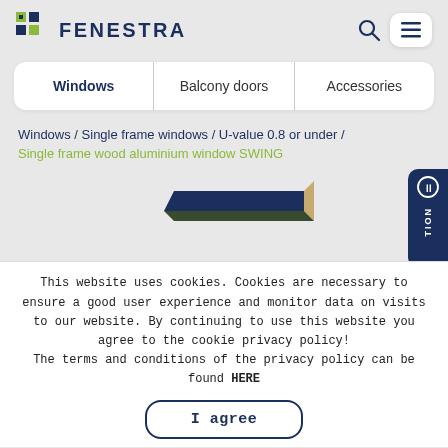[Figure (logo): Fenestra logo with dark blue and yellow-green grid icon and FENESTRA text in navy]
Windows | Balcony doors | Accessories
Windows / Single frame windows / U-value 0.8 or under / Single frame wood aluminium window SWING
[Figure (photo): Partial view of a window profile corner, dark frame with wood interior, against grey background. Side button panel with chat icon and TION label visible on the right edge.]
This website uses cookies. Cookies are necessary to ensure a good user experience and monitor data on visits to our website. By continuing to use this website you agree to the cookie privacy policy! The terms and conditions of the privacy policy can be found HERE
I agree